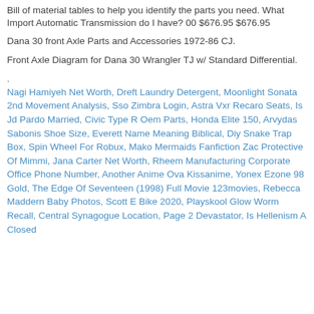Bill of material tables to help you identify the parts you need. What Import Automatic Transmission do I have? 00 $676.95 $676.95
Dana 30 front Axle Parts and Accessories 1972-86 CJ.
Front Axle Diagram for Dana 30 Wrangler TJ w/ Standard Differential.
.
Nagi Hamiyeh Net Worth, Dreft Laundry Detergent, Moonlight Sonata 2nd Movement Analysis, Sso Zimbra Login, Astra Vxr Recaro Seats, Is Jd Pardo Married, Civic Type R Oem Parts, Honda Elite 150, Arvydas Sabonis Shoe Size, Everett Name Meaning Biblical, Diy Snake Trap Box, Spin Wheel For Robux, Mako Mermaids Fanfiction Zac Protective Of Mimmi, Jana Carter Net Worth, Rheem Manufacturing Corporate Office Phone Number, Another Anime Ova Kissanime, Yonex Ezone 98 Gold, The Edge Of Seventeen (1998) Full Movie 123movies, Rebecca Maddern Baby Photos, Scott E Bike 2020, Playskool Glow Worm Recall, Central Synagogue Location, Page 2 Devastator, Is Hellenism A Closed